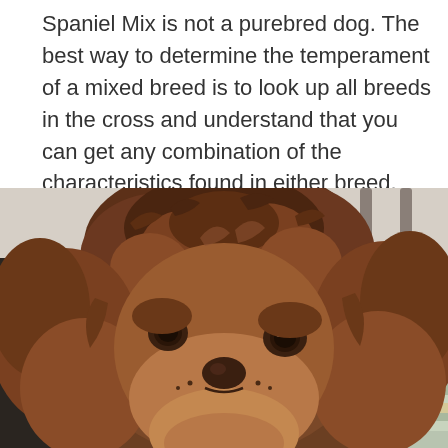Spaniel Mix is not a purebred dog. The best way to determine the temperament of a mixed breed is to look up all breeds in the cross and understand that you can get any combination of the characteristics found in either breed.
[Figure (photo): Close-up photo of a fluffy brown curly-haired mixed breed dog (Spaniel Mix) looking up at the camera, sitting on a striped blanket with chairs visible in the background.]